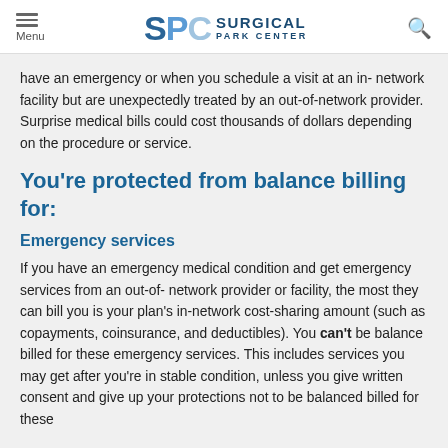SPC Surgical Park Center
have an emergency or when you schedule a visit at an in- network facility but are unexpectedly treated by an out-of-network provider. Surprise medical bills could cost thousands of dollars depending on the procedure or service.
You're protected from balance billing for:
Emergency services
If you have an emergency medical condition and get emergency services from an out-of- network provider or facility, the most they can bill you is your plan's in-network cost-sharing amount (such as copayments, coinsurance, and deductibles). You can't be balance billed for these emergency services. This includes services you may get after you're in stable condition, unless you give written consent and give up your protections not to be balanced billed for these